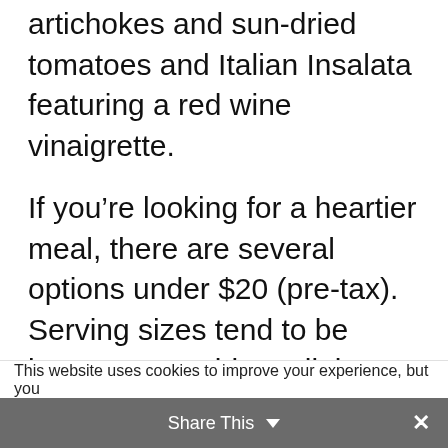artichokes and sun-dried tomatoes and Italian Insalata featuring a red wine vinaigrette.
If you’re looking for a heartier meal, there are several options under $20 (pre-tax). Serving sizes tend to be large, so consider splitting a meal! Little ones can indulge, too, with chicken, fish and pasta options.
This website uses cookies to improve your experience, but you
Share This ⌄  ×